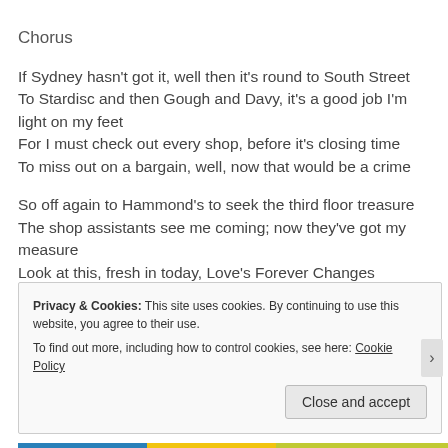Chorus
If Sydney hasn't got it, well then it's round to South Street
To Stardisc and then Gough and Davy, it's a good job I'm light on my feet
For I must check out every shop, before it's closing time
To miss out on a bargain, well, now that would be a crime
So off again to Hammond's to seek the third floor treasure
The shop assistants see me coming; now they've got my measure
Look at this, fresh in today, Love's Forever Changes
Being such a music fan, for my pocket, has its dangers!
Privacy & Cookies: This site uses cookies. By continuing to use this website, you agree to their use.
To find out more, including how to control cookies, see here: Cookie Policy
Close and accept